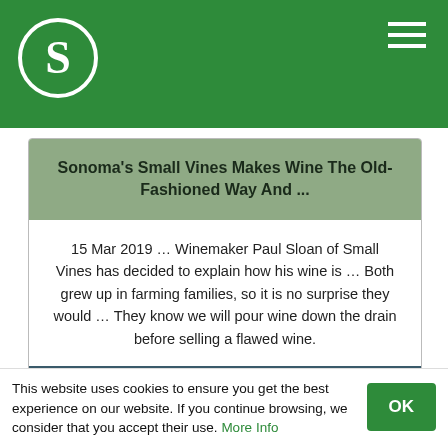S [logo]
Sonoma's Small Vines Makes Wine The Old-Fashioned Way And ...
15 Mar 2019 … Winemaker Paul Sloan of Small Vines has decided to explain how his wine is … Both grew up in farming families, so it is no surprise they would … They know we will pour wine down the drain before selling a flawed wine.
OPEN ONLINE
This website uses cookies to ensure you get the best experience on our website. If you continue browsing, we consider that you accept their use. More Info